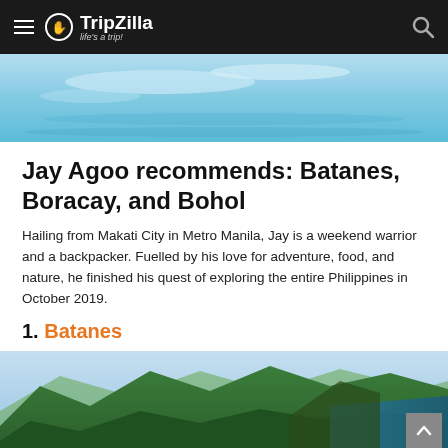TripZilla — life's a trip!
[Figure (photo): Aerial view of turquoise ocean waters with sandy shoal formations]
Jay Agoo recommends: Batanes, Boracay, and Bohol
Hailing from Makati City in Metro Manila, Jay is a weekend warrior and a backpacker. Fuelled by his love for adventure, food, and nature, he finished his quest of exploring the entire Philippines in October 2019.
1. Batanes
[Figure (photo): Lush green mountain ridgeline with cliffs dropping to blue ocean in Batanes, Philippines]